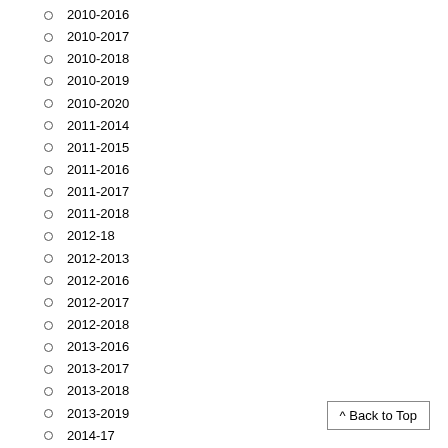2010-2016
2010-2017
2010-2018
2010-2019
2010-2020
2011-2014
2011-2015
2011-2016
2011-2017
2011-2018
2012-18
2012-2013
2012-2016
2012-2017
2012-2018
2013-2016
2013-2017
2013-2018
2013-2019
2014-17
2014-20
2014-2015
2014-2016
2014-2017
2014-2019